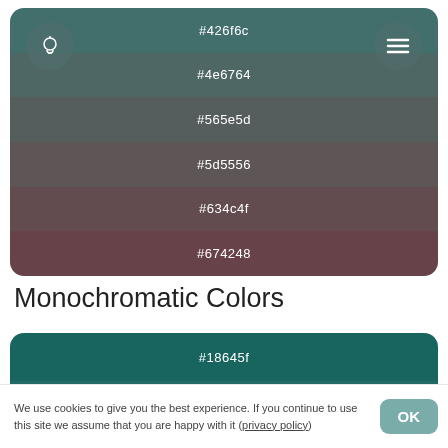[Figure (infographic): Color gradient card showing 6 color swatches with hex codes: #426f6c, #4e6764, #565e5d, #5d5556, #634c4f, #674248. Has a lightbulb icon button top-left and menu icon button top-right.]
Monochromatic Colors
[Figure (infographic): Color gradient card showing 4 color swatches with hex codes: #18645f, #216a66, #29716c, #317873.]
We use cookies to give you the best experience. If you continue to use this site we assume that you are happy with it (privacy policy)